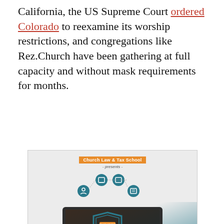California, the US Supreme Court ordered Colorado to reexamine its worship restrictions, and congregations like Rez.Church have been gathering at full capacity and without mask requirements for months.
[Figure (infographic): Advertisement for Church Law & Tax School online course 'Safeguarding Your Church's Finances'. Shows a laptop with a shield graphic, connected icons, text 'How well is your church protecting its finances?' and a button 'EXPLORE NEW COURSE'.]